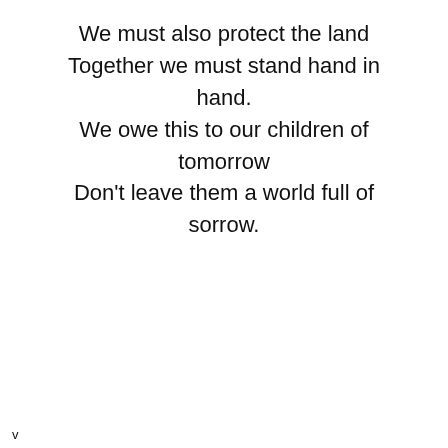We must also protect the land Together we must stand hand in hand. We owe this to our children of tomorrow Don't leave them a world full of sorrow.
v